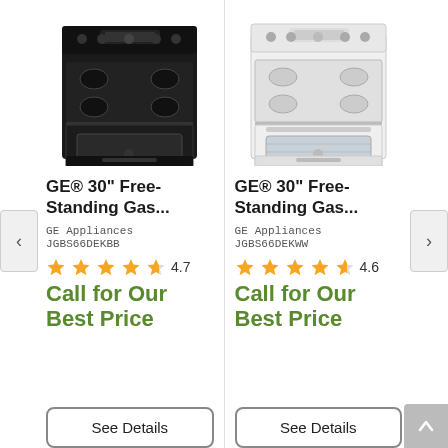[Figure (photo): Black GE 30-inch free-standing gas range with double oven]
GE® 30" Free-Standing Gas...
GE Appliances
JGBS66DEKBB
4.7 stars
Call for Our Best Price
See Details
[Figure (photo): White GE 30-inch free-standing gas range]
GE® 30" Free-Standing Gas...
GE Appliances
JGBS66DEKWW
4.6 stars
Call for Our Best Price
See Details